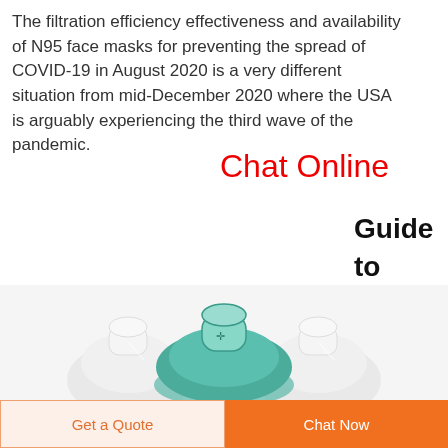The filtration efficiency effectiveness and availability of N95 face masks for preventing the spread of COVID-19 in August 2020 is a very different situation from mid-December 2020 where the USA is arguably experiencing the third wave of the pandemic.
Chat Online
Guide to masks and
[Figure (photo): Three medical/respirator face masks on a white background — one green in center, two white on sides, shown from top-down angle.]
Get a Quote
Chat Now